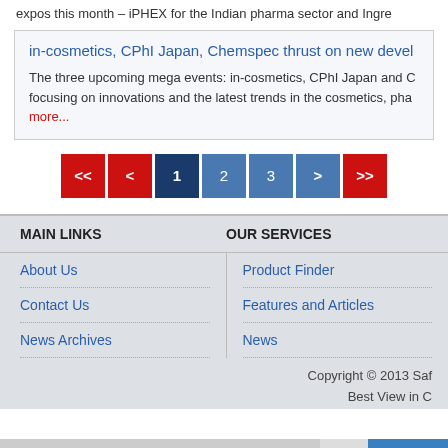expos this month – iPHEX for the Indian pharma sector and Ingre
in-cosmetics, CPhI Japan, Chemspec thrust on new devel
The three upcoming mega events: in-cosmetics, CPhI Japan and C focusing on innovations and the latest trends in the cosmetics, pha more...
MAIN LINKS    OUR SERVICES
About Us
Contact Us
News Archives
Product Finder
Features and Articles
News
Copyright © 2013 Saf
Best View in C